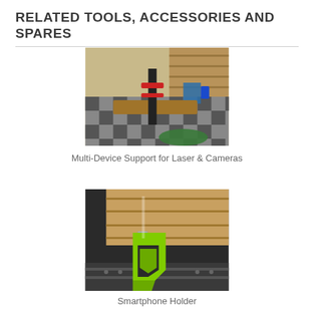RELATED TOOLS, ACCESSORIES AND SPARES
[Figure (photo): A multi-device support clamp mounted on a wooden surface, holding a vertical black rod with a red and blue clamp mechanism, in a workshop setting with checkered floor and wooden beams in background.]
Multi-Device Support for Laser & Cameras
[Figure (photo): A bright lime-green smartphone holder accessory mounted on a gray rail, photographed against a wooden panel background.]
Smartphone Holder